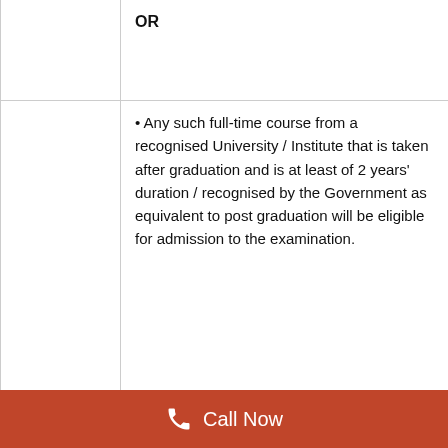|  | OR |
|  | • Any such full-time course from a recognised University / Institute that is taken after graduation and is at least of 2 years' duration / recognised by the Government as equivalent to post graduation will be eligible for admission to the examination. |
|  |  |
| 2. Officers in Grade 'B' | Essential: |
[Figure (infographic): Orange call-to-action bar at bottom with phone icon and 'Call Now' text in white]